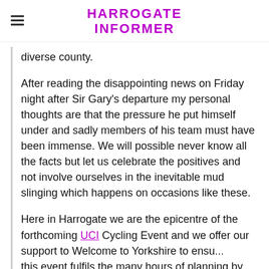HARROGATE INFORMER
diverse county.
After reading the disappointing news on Friday night after Sir Gary's departure my personal thoughts are that the pressure he put himself under and sadly members of his team must have been immense. We will possible never know all the facts but let us celebrate the positives and not involve ourselves in the inevitable mud slinging which happens on occasions like these.
Here in Harrogate we are the epicentre of the forthcoming UCI Cycling Event and we offer our support to Welcome to Yorkshire to ensu... this event fulfils the many hours of planning by